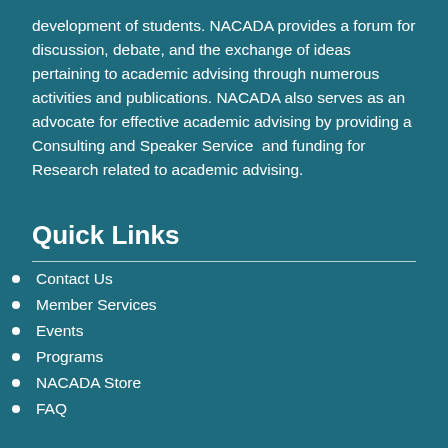development of students. NACADA provides a forum for discussion, debate, and the exchange of ideas pertaining to academic advising through numerous activities and publications. NACADA also serves as an advocate for effective academic advising by providing a Consulting and Speaker Service  and funding for Research related to academic advising.
Quick Links
Contact Us
Member Services
Events
Programs
NACADA Store
FAQ